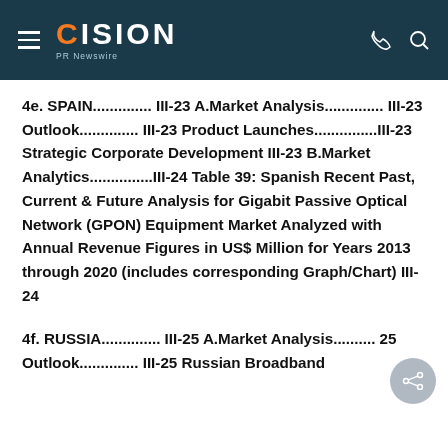CISION PR Newswire
4e. SPAIN.............. III-23 A.Market Analysis.............. III-23 Outlook.............. III-23 Product Launches...............III-23 Strategic Corporate Development III-23 B.Market Analytics...............III-24 Table 39: Spanish Recent Past, Current & Future Analysis for Gigabit Passive Optical Network (GPON) Equipment Market Analyzed with Annual Revenue Figures in US$ Million for Years 2013 through 2020 (includes corresponding Graph/Chart) III-24
4f. RUSSIA.............. III-25 A.Market Analysis.......... 25 Outlook.............. III-25 Russian Broadband